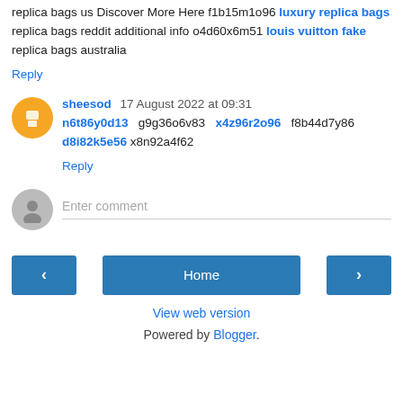replica bags us Discover More Here f1b15m1o96 luxury replica bags replica bags reddit additional info o4d60x6m51 louis vuitton fake replica bags australia
Reply
sheesod 17 August 2022 at 09:31
n6t86y0d13 g9g36o6v83 x4z96r2o96 f8b44d7y86 d8i82k5e56 x8n92a4f62
Reply
Enter comment
Home
View web version
Powered by Blogger.